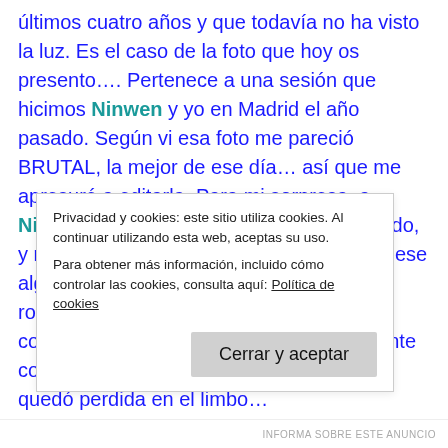últimos cuatro años y que todavía no ha visto la luz. Es el caso de la foto que hoy os presento…. Pertenece a una sesión que hicimos Ninwen y yo en Madrid el año pasado. Según vi esa foto me pareció BRUTAL, la mejor de ese día… así que me apresuré a editarla. Para mi sorpresa, a Ninwen no le convenció demasiado el fondo, y me pidió que se lo cambiase, que le pusiese alguna textura… Pero me negué rotundamente: a día de hoy soy súper contrario a ese tipo de prácticas, va bastante contra mis principios, con lo cual la foto se quedó perdida en el limbo… Hasta que durante una de nuestras
Privacidad y cookies: este sitio utiliza cookies. Al continuar utilizando esta web, aceptas su uso.
Para obtener más información, incluido cómo controlar las cookies, consulta aquí: Política de cookies
Cerrar y aceptar